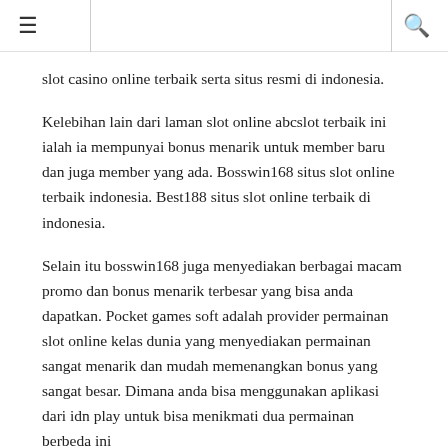≡  Q
slot casino online terbaik serta situs resmi di indonesia.
Kelebihan lain dari laman slot online abcslot terbaik ini ialah ia mempunyai bonus menarik untuk member baru dan juga member yang ada. Bosswin168 situs slot online terbaik indonesia. Best188 situs slot online terbaik di indonesia.
Selain itu bosswin168 juga menyediakan berbagai macam promo dan bonus menarik terbesar yang bisa anda dapatkan. Pocket games soft adalah provider permainan slot online kelas dunia yang menyediakan permainan sangat menarik dan mudah memenangkan bonus yang sangat besar. Dimana anda bisa menggunakan aplikasi dari idn play untuk bisa menikmati dua permainan berbeda ini